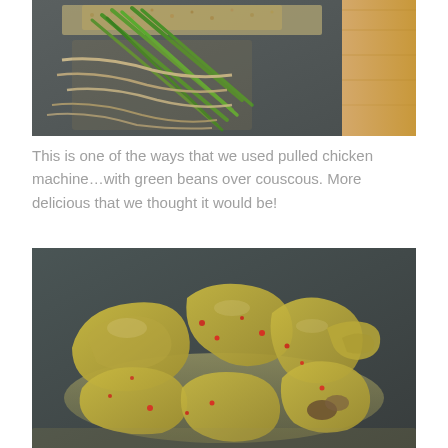[Figure (photo): A gray plate with pulled chicken, green beans, and couscous garnish on a wooden surface]
This is one of the ways that we used pulled chicken machine…with green beans over couscous. More delicious that we thought it would be!
[Figure (photo): A gray plate with pieces of cooked chicken with red chili flakes in a creamy yellow sauce]